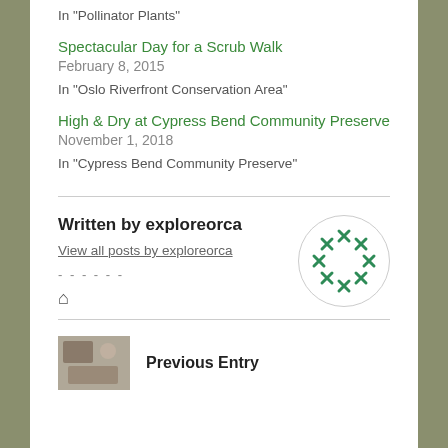In "Pollinator Plants"
Spectacular Day for a Scrub Walk
February 8, 2015
In "Oslo Riverfront Conservation Area"
High & Dry at Cypress Bend Community Preserve
November 1, 2018
In "Cypress Bend Community Preserve"
Written by exploreorca
View all posts by exploreorca
[Figure (logo): Green snowflake/cross pattern logo in a circle]
-------
Previous Entry